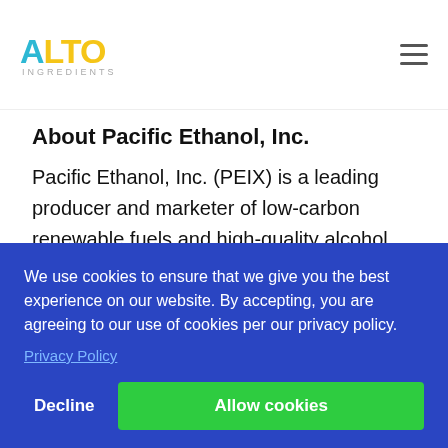[Figure (logo): Alto Ingredients logo with teal 'A' and yellow 'LTO' text and water drop icon, with 'INGREDIENTS' subtitle]
About Pacific Ethanol, Inc.
Pacific Ethanol, Inc. (PEIX) is a leading producer and marketer of low-carbon renewable fuels and high-quality alcohol products in the United States. Pacific Ethanol owns and operates nine production facilities, [and] and [on a] over – on a grains, rs, stillers
[Figure (screenshot): Cookie consent overlay with blue background. Text reads: 'We use cookies to ensure that we give you the best experience on our website. By accepting, you are agreeing to our use of cookies per our privacy policy.' with Privacy Policy link and Decline / Allow cookies buttons.]